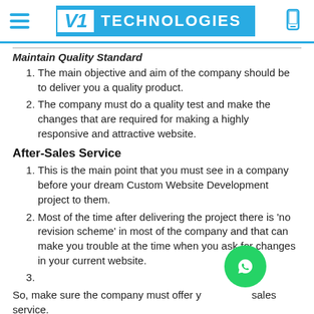V1 TECHNOLOGIES
Maintain Quality Standard
The main objective and aim of the company should be to deliver you a quality product.
The company must do a quality test and make the changes that are required for making a highly responsive and attractive website.
After-Sales Service
This is the main point that you must see in a company before your dream Custom Website Development project to them.
Most of the time after delivering the project there is 'no revision scheme' in most of the company and that can make you trouble at the time when you ask for changes in your current website.
3.
So, make sure the company must offer you after-sales service.
General& Technical Support